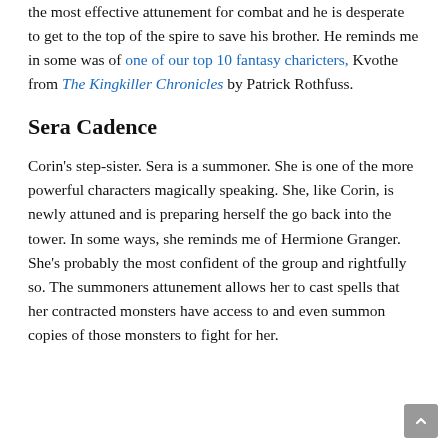the most effective attunement for combat and he is desperate to get to the top of the spire to save his brother. He reminds me in some was of one of our top 10 fantasy charicters, Kvothe from The Kingkiller Chronicles by Patrick Rothfuss.
Sera Cadence
Corin's step-sister. Sera is a summoner. She is one of the more powerful characters magically speaking. She, like Corin, is newly attuned and is preparing herself the go back into the tower. In some ways, she reminds me of Hermione Granger. She's probably the most confident of the group and rightfully so. The summoners attunement allows her to cast spells that her contracted monsters have access to and even summon copies of those monsters to fight for her.